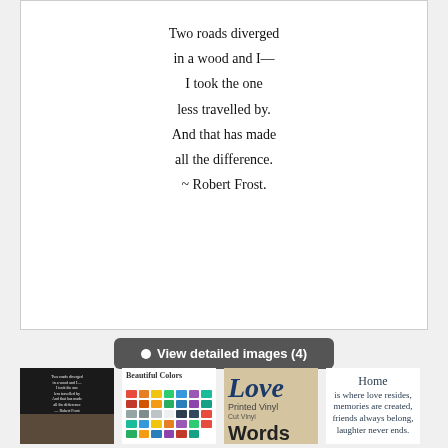[Figure (photo): Large white product image showing handwritten-style text of Robert Frost quote: 'Two roads diverged in a wood and I— / I took the one / less travelled by. / And that has made / all the difference. / ~ Robert Frost.']
View detailed images (4)
[Figure (photo): Thumbnail 1: Wall decal in dark room showing Robert Frost quote in cursive]
[Figure (photo): Thumbnail 2: Color chart grid labeled 'Beautiful Colors']
[Figure (photo): Thumbnail 3: Product listing showing large text 'Love' and 'Words' on tan background]
[Figure (photo): Thumbnail 4: White background with cursive 'Home is where love resides' quote]